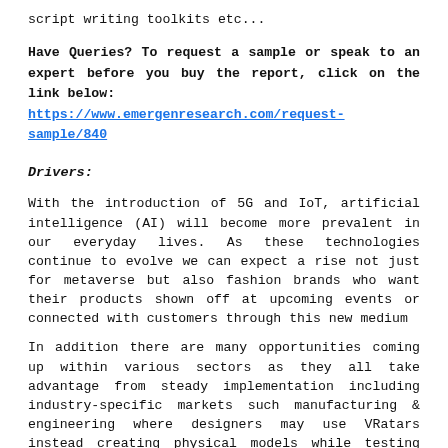script writing toolkits etc...
Have Queries? To request a sample or speak to an expert before you buy the report, click on the link below: https://www.emergenresearch.com/request-sample/840
Drivers:
With the introduction of 5G and IoT, artificial intelligence (AI) will become more prevalent in our everyday lives. As these technologies continue to evolve we can expect a rise not just for metaverse but also fashion brands who want their products shown off at upcoming events or connected with customers through this new medium
In addition there are many opportunities coming up within various sectors as they all take advantage from steady implementation including industry-specific markets such manufacturing & engineering where designers may use VRatars instead creating physical models while testing out designs.